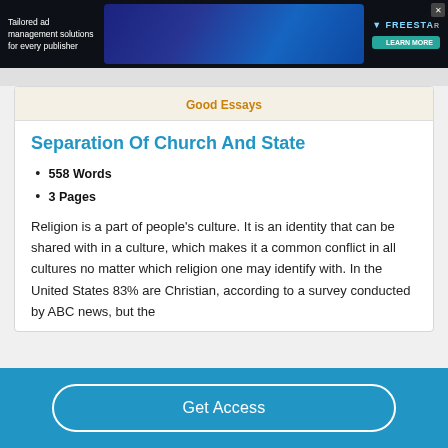[Figure (screenshot): Advertisement banner for Freestar ad management solutions for publishers with dark background, teal button, and decorative graphic.]
Good Essays
Separation Of Church And State
558 Words
3 Pages
Religion is a part of people's culture. It is an identity that can be shared with in a culture, which makes it a common conflict in all cultures no matter which religion one may identify with. In the United States 83% are Christian, according to a survey conducted by ABC news, but the
Get Access